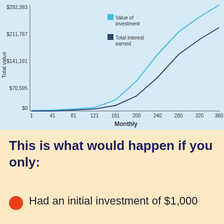[Figure (line-chart): ]
This is what would happen if you only:
Had an initial investment of $1,000